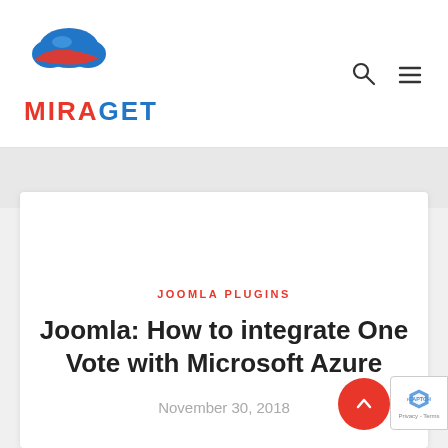[Figure (logo): Miraget logo: blue cloud with red swoosh on top, and 'MIRAGET' text below in red and blue]
JOOMLA PLUGINS
Joomla: How to integrate One Vote with Microsoft Azure
November 30, 2018